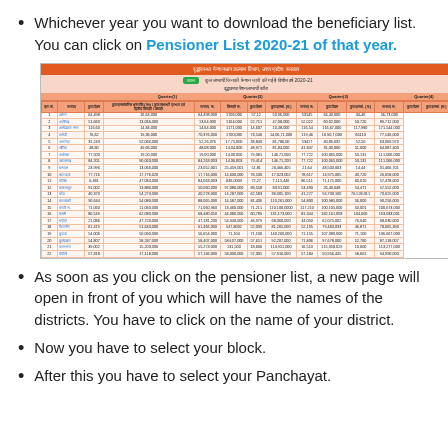Whichever year you want to download the beneficiary list. You can click on Pensioner List 2020-21 of that year.
[Figure (screenshot): Screenshot of UP government old age pension website showing a table of pensioners with quarterly data for financial year 2020-21, with an orange header in Hindi and rows of district-wise data.]
As soon as you click on the pensioner list, a new page will open in front of you which will have the names of the districts. You have to click on the name of your district.
Now you have to select your block.
After this you have to select your Panchayat.